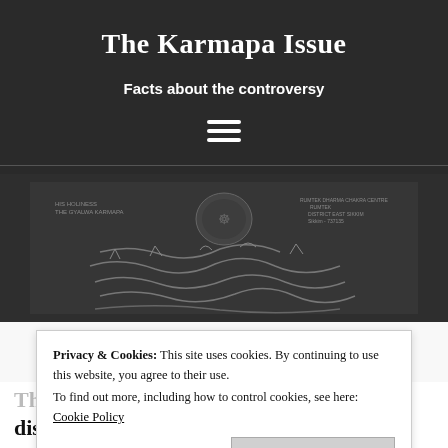The Karmapa Issue
Facts about the controversy
[Figure (other): Scanned document with Tibetan script and a decorative emblem/seal, shown in dark grey tones on a dark background. Appears to be a historical Tibetan document with handwritten script.]
Privacy & Cookies: This site uses cookies. By continuing to use this website, you agree to their use. To find out more, including how to control cookies, see here: Cookie Policy
The District Court in Gangtok dismissed the case of Tsurphu Labrang